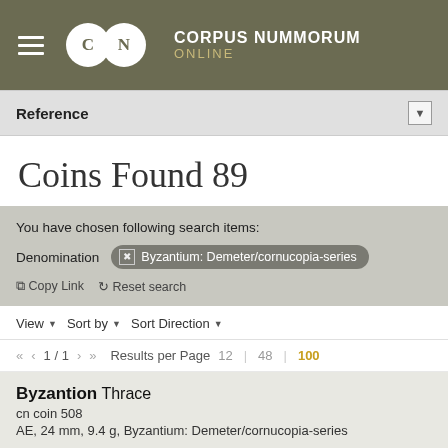CORPUS NUMMORUM ONLINE
Reference
Coins Found 89
You have chosen following search items:
Denomination  ✕ Byzantium: Demeter/cornucopia-series
⎘ Copy Link  ↺ Reset search
View ▾  Sort by ▾  Sort Direction ▾
«  ‹  1 / 1  ›  »  Results per Page  12 | 48 | 100
Byzantion Thrace
cn coin 508
AE, 24 mm, 9.4 g, Byzantium: Demeter/cornucopia-series